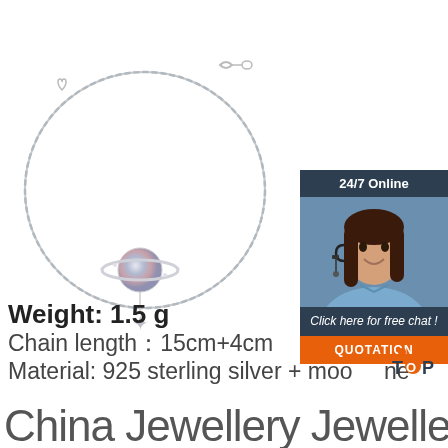[Figure (photo): Silver bracelet with planet charm and star pendant on white background]
[Figure (photo): 24/7 Online support panel with female agent wearing headset, 'Click here for free chat!' text and orange QUOTATION button]
Weight: 1.5 g
Chain length：15cm+4cm
Material: 925 sterling silver + moonstone
China Jewellery Jewellery
[Figure (logo): TOP brand logo with orange dots forming triangle and letters TOP]